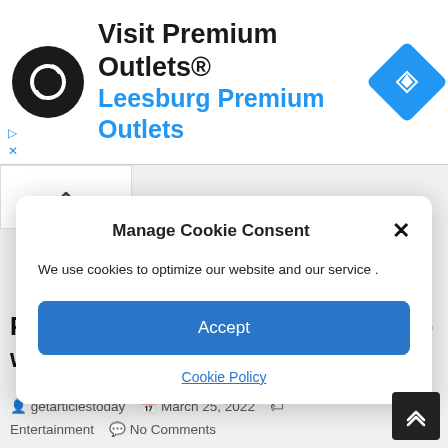[Figure (screenshot): Advertisement banner for Visit Premium Outlets® – Leesburg Premium Outlets, with black circular logo with infinity-style arrow icon, blue map navigation icon on right, and small play/close icons on left side]
Peter Goddard was dean of Toronto writers'
getarticlestoday   March 25, 2022   Entertainment   No Comments
Manage Cookie Consent
We use cookies to optimize our website and our service .
Accept
Cookie Policy